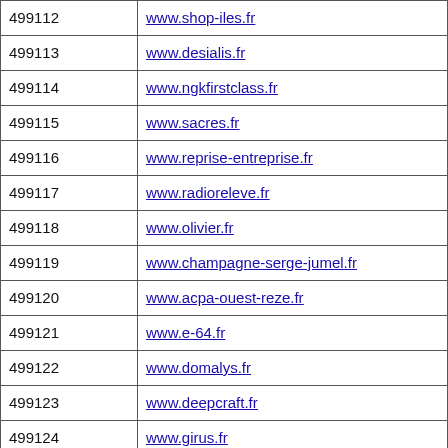| ID | URL |
| --- | --- |
| 499112 | www.shop-iles.fr |
| 499113 | www.desialis.fr |
| 499114 | www.ngkfirstclass.fr |
| 499115 | www.sacres.fr |
| 499116 | www.reprise-entreprise.fr |
| 499117 | www.radioreleve.fr |
| 499118 | www.olivier.fr |
| 499119 | www.champagne-serge-jumel.fr |
| 499120 | www.acpa-ouest-reze.fr |
| 499121 | www.e-64.fr |
| 499122 | www.domalys.fr |
| 499123 | www.deepcraft.fr |
| 499124 | www.girus.fr |
| 499125 | www.digitaleco.fr |
| 499126 | www.pralus.fr |
| 499127 |  |